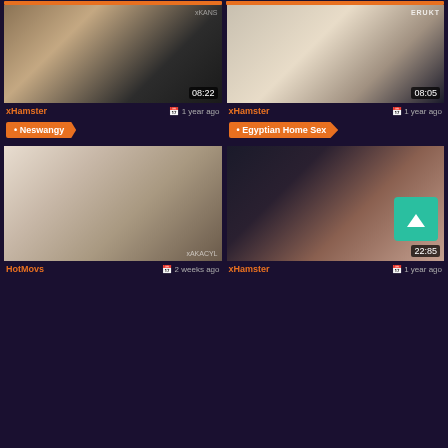[Figure (screenshot): Video thumbnail grid showing adult video website content with thumbnails, source labels, dates, and category tags]
xHamster   1 year ago
xHamster   1 year ago
Neswangy
Egyptian Home Sex
HotMovs   2 weeks ago
xHamster   1 year ago